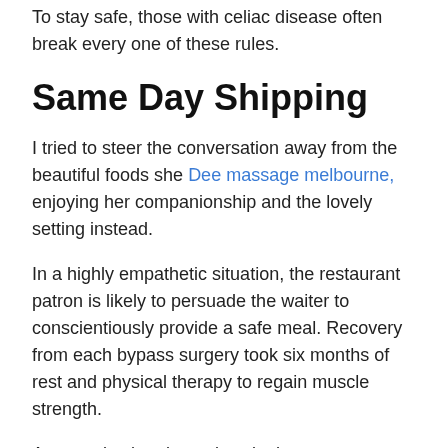To stay safe, those with celiac disease often break every one of these rules.
Same Day Shipping
I tried to steer the conversation away from the beautiful foods she Dee massage melbourne, enjoying her companionship and the lovely setting instead.
In a highly empathetic situation, the restaurant patron is likely to persuade the waiter to conscientiously provide a safe meal. Recovery from each bypass surgery took six months of rest and physical therapy to regain muscle strength.
Accepted cultural practices in the restaurant scenario cause awkwardness for those with food sensitivities or celiac disease. My favorite flower, a light pink rose he gave me sat next to my place setting. Grace was a victim of exclusionary etiquette rules when she had to show thanks